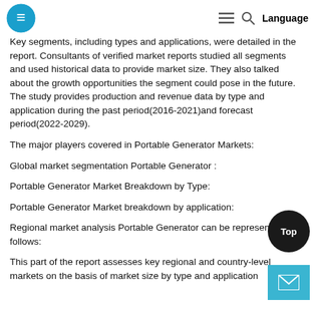Language
Key segments, including types and applications, were detailed in the report. Consultants of verified market reports studied all segments and used historical data to provide market size. They also talked about the growth opportunities the segment could pose in the future. The study provides production and revenue data by type and application during the past period(2016-2021)and forecast period(2022-2029).
The major players covered in Portable Generator Markets:
Global market segmentation Portable Generator :
Portable Generator Market Breakdown by Type:
Portable Generator Market breakdown by application:
Regional market analysis Portable Generator can be represented as follows:
This part of the report assesses key regional and country-level markets on the basis of market size by type and application